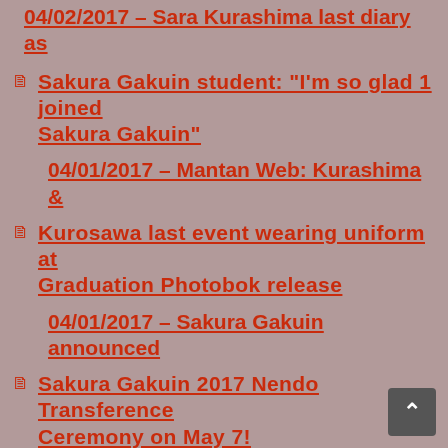04/02/2017 – Sara Kurashima last diary as
Sakura Gakuin student: "I'm so glad 1 joined Sakura Gakuin"
04/01/2017 – Mantan Web: Kurashima &
Kurosawa last event wearing uniform at Graduation Photobok release
04/01/2017 – Sakura Gakuin announced
Sakura Gakuin 2017 Nendo Transference Ceremony on May 7!
04/01/2017 – BABYMETAL FOX DAY
announcement "THE ONE Big 5 Kitsune Festival in Japan" in July & August!